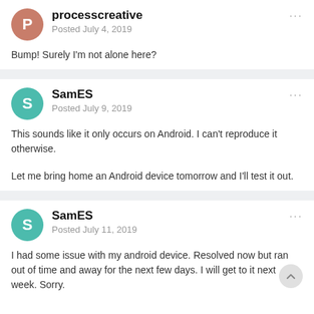processcreative
Posted July 4, 2019
Bump! Surely I'm not alone here?
SamES
Posted July 9, 2019
This sounds like it only occurs on Android.  I can't reproduce it otherwise.
Let me bring home an Android device tomorrow and I'll test it out.
SamES
Posted July 11, 2019
I had some issue with my android device.  Resolved now but ran out of time and away for the next few days.  I will get to it next week. Sorry.